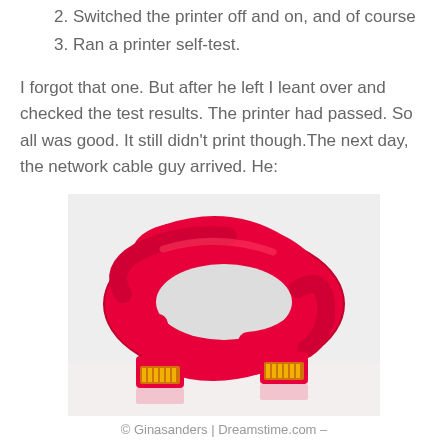2. Switched the printer off and on, and of course
3. Ran a printer self-test.
I forgot that one. But after he left I leant over and checked the test results. The printer had passed. So all was good. It still didn’t print though.The next day, the network cable guy arrived. He:
[Figure (photo): A coiled red network (Ethernet) cable with two RJ45 connectors visible, placed on a light reflective surface.]
© Ginasanders | Dreamstime.com –